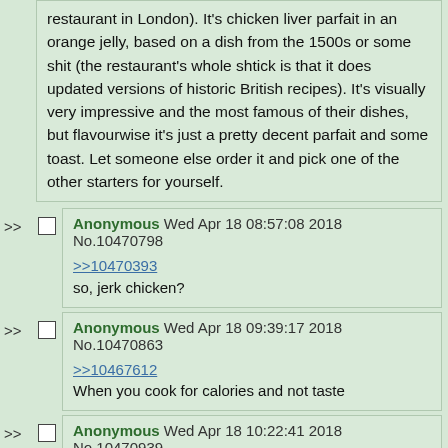restaurant in London). It's chicken liver parfait in an orange jelly, based on a dish from the 1500s or some shit (the restaurant's whole shtick is that it does updated versions of historic British recipes). It's visually very impressive and the most famous of their dishes, but flavourwise it's just a pretty decent parfait and some toast. Let someone else order it and pick one of the other starters for yourself.
Anonymous Wed Apr 18 08:57:08 2018 No.10470798
>>10470393
so, jerk chicken?
Anonymous Wed Apr 18 09:39:17 2018 No.10470863
>>10467612
When you cook for calories and not taste
Anonymous Wed Apr 18 10:22:41 2018 No.10470939
>>10468312
I'm honestly jealous of how much faith you have in people, Anon.